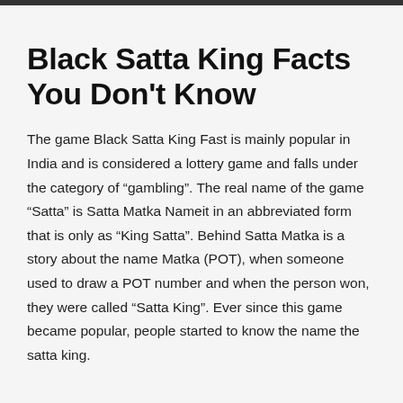Black Satta King Facts You Don't Know
The game Black Satta King Fast is mainly popular in India and is considered a lottery game and falls under the category of "gambling". The real name of the game "Satta" is Satta Matka Nameit in an abbreviated form that is only as "King Satta". Behind Satta Matka is a story about the name Matka (POT), when someone used to draw a POT number and when the person won, they were called "Satta King". Ever since this game became popular, people started to know the name the satta king.